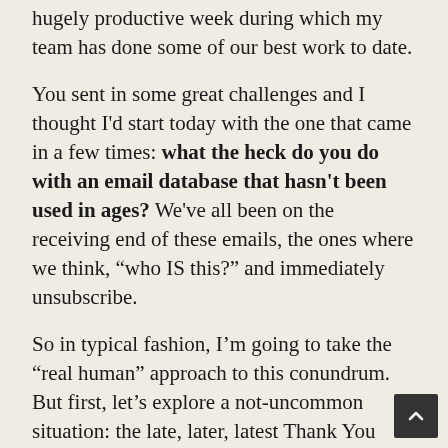hugely productive week during which my team has done some of our best work to date.
You sent in some great challenges and I thought I'd start today with the one that came in a few times: what the heck do you do with an email database that hasn't been used in ages? We've all been on the receiving end of these emails, the ones where we think, “who IS this?” and immediately unsubscribe.
So in typical fashion, I’m going to take the “real human” approach to this conundrum. But first, let’s explore a not-uncommon situation: the late, later, latest Thank You letter (email, fine. Make my uber-mannerly granny roll over in her grave. One day, I’ll convince you to write a paper-and